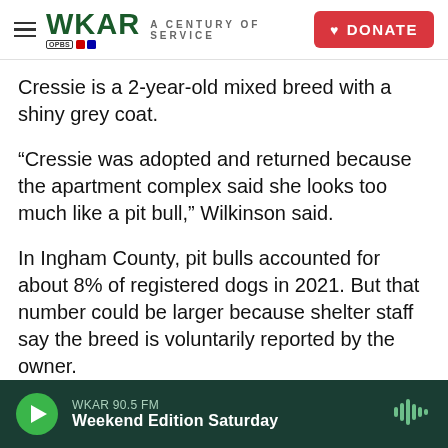WKAR A CENTURY OF SERVICE | DONATE
Cressie is a 2-year-old mixed breed with a shiny grey coat.
“Cressie was adopted and returned because the apartment complex said she looks too much like a pit bull,” Wilkinson said.
In Ingham County, pit bulls accounted for about 8% of registered dogs in 2021. But that number could be larger because shelter staff say the breed is voluntarily reported by the owner.
Dr. Maria Iliopoulou is a veterinarian at St. Francis Veterinary House call Services. She said the types…
WKAR 90.5 FM | Weekend Edition Saturday